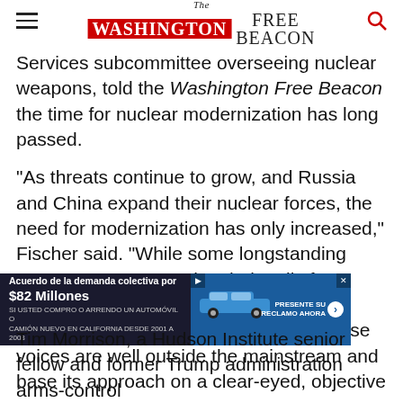The Washington Free Beacon
Services subcommittee overseeing nuclear weapons, told the Washington Free Beacon the time for nuclear modernization has long passed.
"As threats continue to grow, and Russia and China expand their nuclear forces, the need for modernization has only increased," Fischer said. "While some longstanding opponents are renewing their calls for reductions or delays, the Biden administration should recognize that these voices are well outside the mainstream and base its approach on a clear-eyed, objective
[Figure (other): Advertisement banner in Spanish: Acuerdo de la demanda colectiva por $82 Millones - SI USTED COMPRO O ARRENDO UN AUTOMOVIL O CAMION NUEVO EN CALIFORNIA DESDE 2001 A 2003 - PRESENTE SU RECLAMO AHORA]
Tim Morrison, a Hudson Institute senior fellow and former Trump administration arms-control